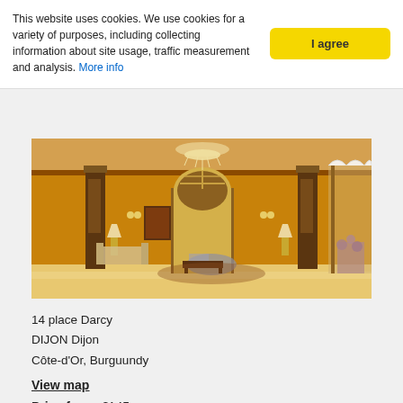This website uses cookies. We use cookies for a variety of purposes, including collecting information about site usage, traffic measurement and analysis. More info
[Figure (photo): Elegant hotel lobby with chandelier, arched glass doors, warm terracotta walls, ornate columns, and classic furniture]
14 place Darcy
DIJON Dijon
Côte-d'Or, Burguundy
View map
Price from: €145
Open: All year
The elegant Grand Hotel La Cloche de Dijon is located in the heart of Burgundy's capital, Dijon, close to the old town. It is an ideal base for